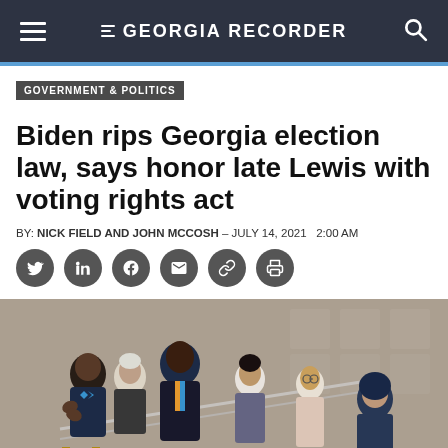GEORGIA RECORDER
GOVERNMENT & POLITICS
Biden rips Georgia election law, says honor late Lewis with voting rights act
BY: NICK FIELD AND JOHN MCCOSH - JULY 14, 2021   2:00 AM
[Figure (photo): Group of people on a staircase at a formal venue, clapping and standing, with star-patterned walls in the background.]